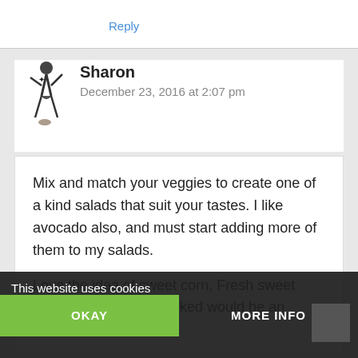Reply
Sharon
December 23, 2016 at 2:07 pm
Mix and match your veggies to create one of a kind salads that suit your tastes. I like avocado also, and must start adding more of them to my salads.

Love the idea of sweet corn. Fresh sweet corn raw or slightly cooked would be an awesome addition.
This website uses cookies
OKAY
MORE INFO